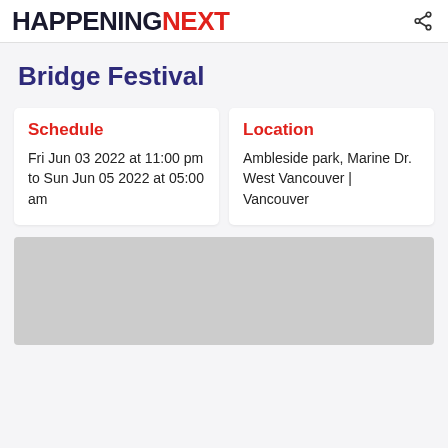HAPPENINGNEXT
Bridge Festival
Schedule
Fri Jun 03 2022 at 11:00 pm to Sun Jun 05 2022 at 05:00 am
Location
Ambleside park, Marine Dr. West Vancouver | Vancouver
[Figure (map): Map placeholder area showing a grey rectangle]